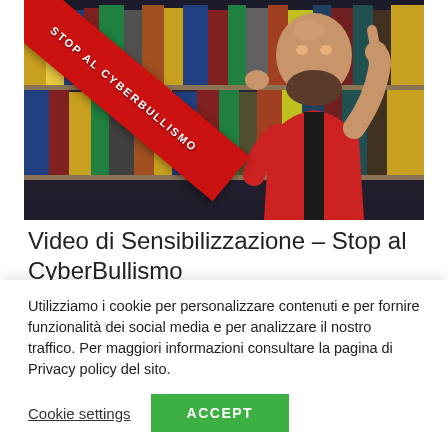[Figure (photo): Thumbnail image of a bald man in a red hoodie pointing upward with one finger, in front of a colorful bookshelf, with a red diagonal banner reading 'STOP AL CYBERBULLISMO']
Video di Sensibilizzazione – Stop al CyberBullismo
Utilizziamo i cookie per personalizzare contenuti e per fornire funzionalità dei social media e per analizzare il nostro traffico. Per maggiori informazioni consultare la pagina di Privacy policy del sito.
Cookie settings    ACCEPT